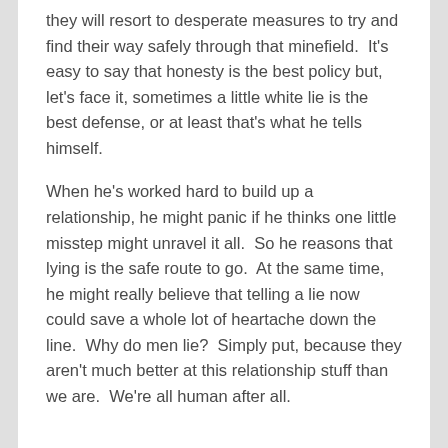they will resort to desperate measures to try and find their way safely through that minefield.  It's easy to say that honesty is the best policy but, let's face it, sometimes a little white lie is the best defense, or at least that's what he tells himself.
When he's worked hard to build up a relationship, he might panic if he thinks one little misstep might unravel it all.  So he reasons that lying is the safe route to go.  At the same time, he might really believe that telling a lie now could save a whole lot of heartache down the line.  Why do men lie?  Simply put, because they aren't much better at this relationship stuff than we are.  We're all human after all.